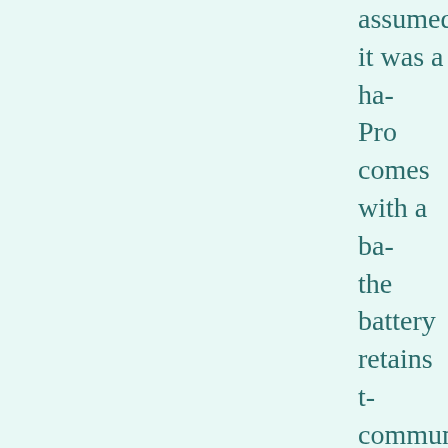assumed it was a ha... Pro comes with a ba... the battery retains t... communicate with w...
If the indicator is fa... battery, therefore re... indicator, or simply... any more. If there is... pin 2 Fixing the prob... the MacBook model...
If you need to remov... very easy to peel off... cost to your repair b... bear in mind that th...
Remember the cabl... MacBook. The cable...